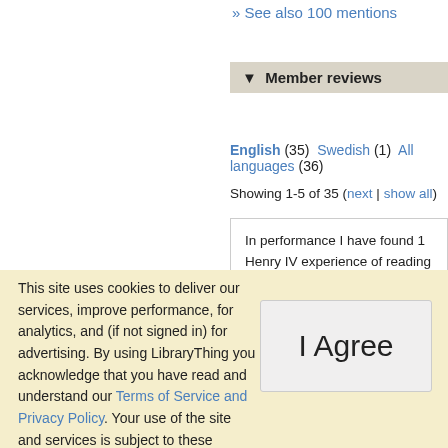» See also 100 mentions
▼ Member reviews
English (35) Swedish (1) All languages (36)
Showing 1-5 of 35 (next | show all)
In performance I have found 1 Henry IV experience of reading it order thay my e

Alas, I found the experience of reading t rich, the wordplay wonderful, and the plo held among Shakespeare's best.
This site uses cookies to deliver our services, improve performance, for analytics, and (if not signed in) for advertising. By using LibraryThing you acknowledge that you have read and understand our Terms of Service and Privacy Policy. Your use of the site and services is subject to these policies and terms.
I Agree